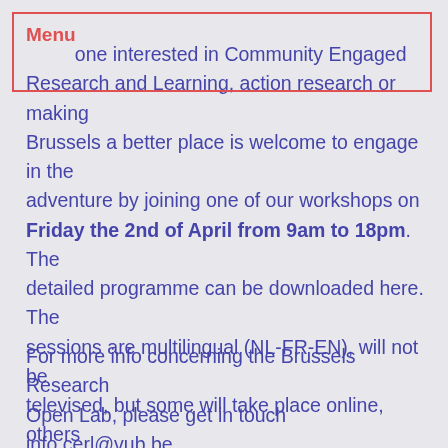Menu
one interested in Community Engaged Research and Learning, action research or making Brussels a better place is welcome to engage in the adventure by joining one of our workshops on Friday the 2nd of April from 9am to 18pm. The detailed programme can be downloaded here. The sessions are multilingual (NL-FR-EN), will not be televised, but some will take place online, others outdoors! Please register here.
For more info concerning the Brussels Research Open Lab, please get in touch info.cerl@vub.be. Looking forward!